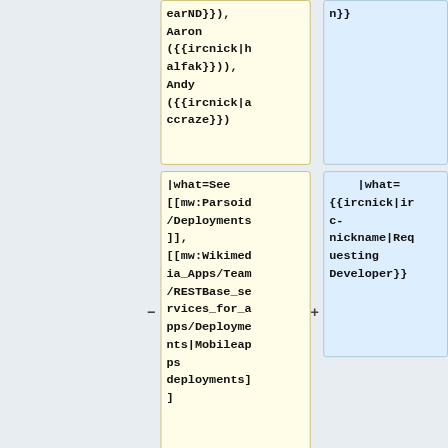earND}}), Aaron ({{ircnick|halfak}})), Andy ({{ircnick|accraze}})
n}}
|what=See [[mw:Parsoid/Deployments]], [[mw:Wikimedia_Apps/Team/RESTBase_services_for_apps/Deployments|Mobileapps deployments]]
|what= {{ircnick|irc-nickname|Requesting Developer}}